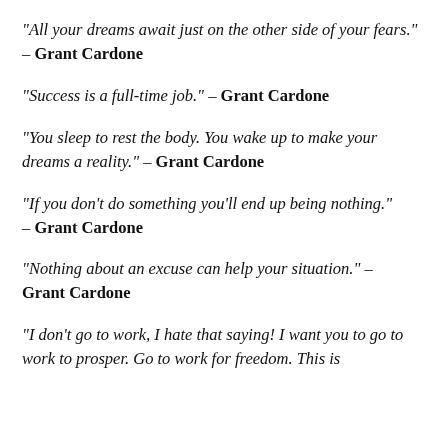“All your dreams await just on the other side of your fears.” – Grant Cardone
“Success is a full-time job.” – Grant Cardone
“You sleep to rest the body. You wake up to make your dreams a reality.” – Grant Cardone
“If you don’t do something you’ll end up being nothing.” – Grant Cardone
“Nothing about an excuse can help your situation.” – Grant Cardone
“I don’t go to work, I hate that saying! I want you to go to work to prosper. Go to work for freedom. This is